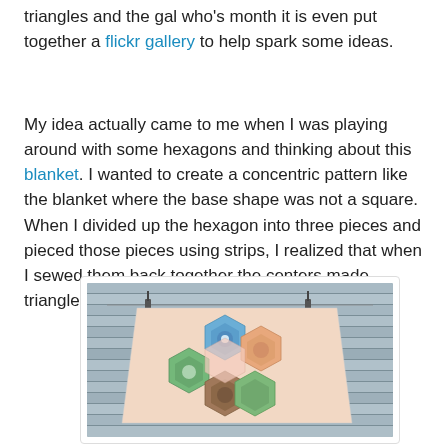triangles and the gal who's month it is even put together a flickr gallery to help spark some ideas.
My idea actually came to me when I was playing around with some hexagons and thinking about this blanket. I wanted to create a concentric pattern like the blanket where the base shape was not a square. When I divided up the hexagon into three pieces and pieced those pieces using strips, I realized that when I sewed them back together the centers made triangles. Eureka!
[Figure (photo): A hexagon quilt block hung on a metal siding wall with binder clips, showing colorful fabric hexagons in blue, green, orange/brown, and pink patterns arranged in a flower-like formation.]